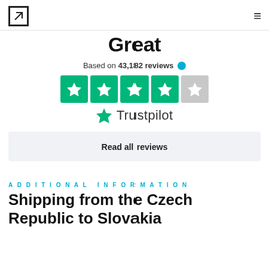Great
Based on 43,182 reviews ✔
[Figure (other): Trustpilot rating showing 4 green stars and 1 gray half star, with Trustpilot logo]
Read all reviews
ADDITIONAL INFORMATION
Shipping from the Czech Republic to Slovakia